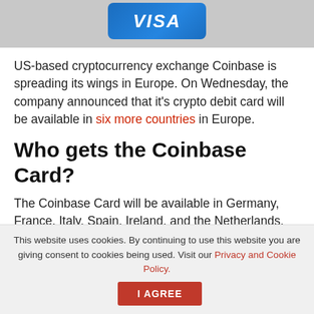[Figure (illustration): Coinbase Visa debit card image on a grey background, showing blue card with VISA logo in white italic text]
US-based cryptocurrency exchange Coinbase is spreading its wings in Europe. On Wednesday, the company announced that it's crypto debit card will be available in six more countries in Europe.
Who gets the Coinbase Card?
The Coinbase Card will be available in Germany, France, Italy, Spain, Ireland, and the Netherlands. The card allows users to spend
This website uses cookies. By continuing to use this website you are giving consent to cookies being used. Visit our Privacy and Cookie Policy.